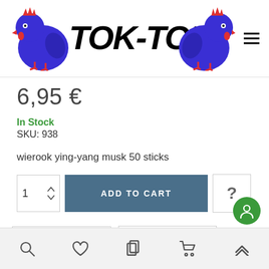[Figure (logo): TOK-TOK logo with two purple cartoon chickens flanking italic bold text TOK-TOK]
6,95 €
In Stock
SKU: 938
wierook ying-yang musk 50 sticks
ADD TO CART
ADD TO WISHLIST
ADD TO COMPARE